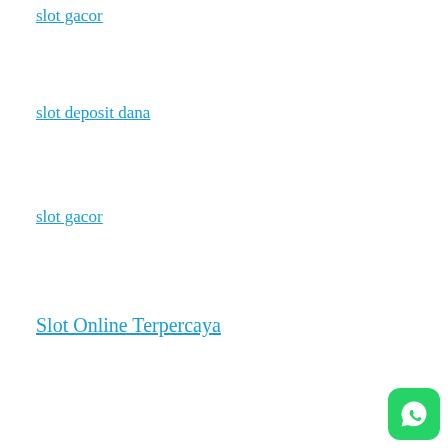slot gacor
slot deposit dana
slot gacor
Slot Online Terpercaya